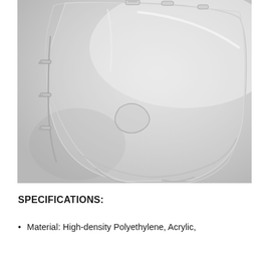[Figure (photo): Close-up black and white photograph of a transparent face shield/protective visor made of clear plastic, showing the curved shield with nose cutout and mounting hardware/clips along the edges, on a light gray background.]
SPECIFICATIONS:
Material: High-density Polyethylene, Acrylic,